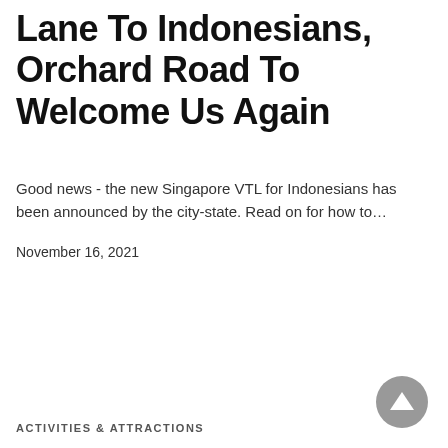Lane To Indonesians, Orchard Road To Welcome Us Again
Good news - the new Singapore VTL for Indonesians has been announced by the city-state. Read on for how to…
November 16, 2021
ACTIVITIES & ATTRACTIONS